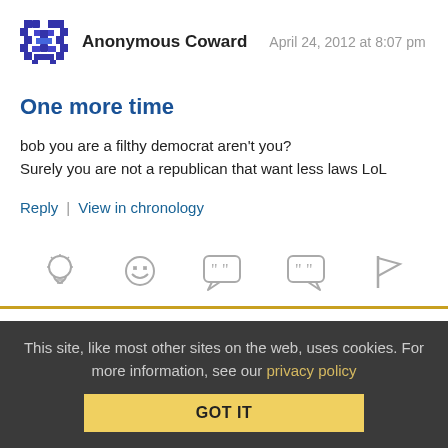Anonymous Coward   April 24, 2012 at 8:07 pm
One more time
bob you are a filthy democrat aren't you?
Surely you are not a republican that want less laws LoL
Reply | View in chronology
[Figure (infographic): Row of 5 reaction icons: lightbulb, laughing face, quote bubble (open), quote bubble (close), flag]
Anonymous Coward   April 24, 2012 at 8:18 pm (truncated)
This site, like most other sites on the web, uses cookies. For more information, see our privacy policy
GOT IT